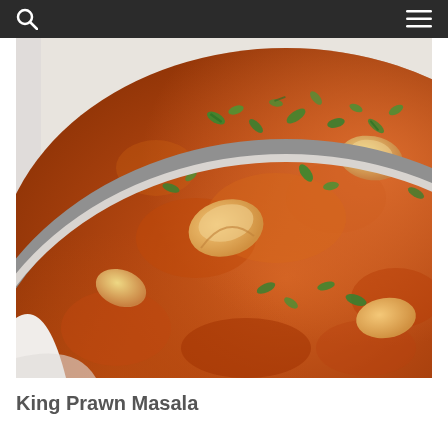[Figure (photo): Close-up photo of King Prawn Masala curry in a dark grey bowl, showing orange-red tomato-based sauce with large prawns and chopped fresh coriander garnish on top, placed on a light cream surface.]
King Prawn Masala